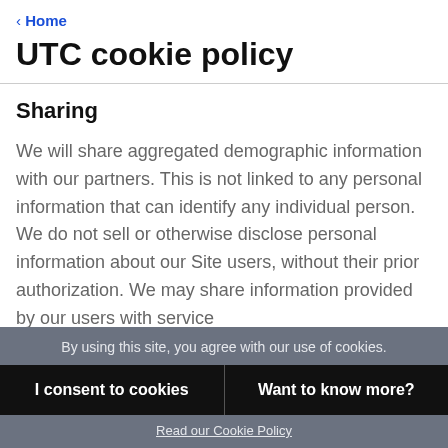‹ Home
UTC cookie policy
Sharing
We will share aggregated demographic information with our partners. This is not linked to any personal information that can identify any individual person. We do not sell or otherwise disclose personal information about our Site users, without their prior authorization. We may share information provided by our users with service
By using this site, you agree with our use of cookies.
I consent to cookies
Want to know more?
Read our Cookie Policy